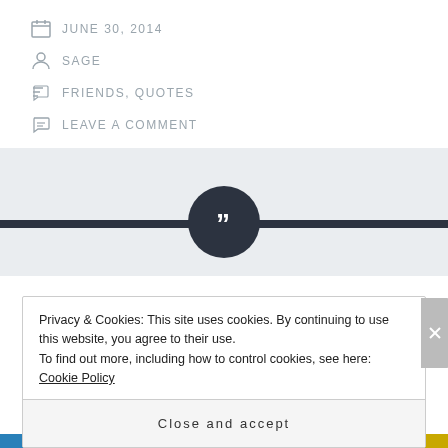JUNE 30, 2014
SAGE
FRIENDS, QUOTES
LEAVE A COMMENT
[Figure (illustration): Dark circular badge with quotation mark symbols on a light gray banner section with a dark horizontal bar]
Carry On
Privacy & Cookies: This site uses cookies. By continuing to use this website, you agree to their use.
To find out more, including how to control cookies, see here: Cookie Policy
Close and accept